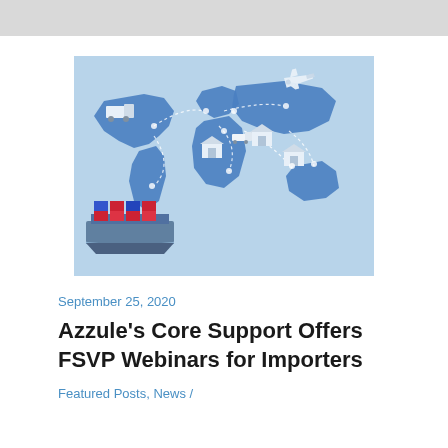[Figure (illustration): Isometric illustration of global logistics and supply chain on a light blue background, featuring a world map with blue landmasses, a cargo ship, an airplane, trucks, and warehouse/distribution center icons connected by dotted lines]
September 25, 2020
Azzule's Core Support Offers FSVP Webinars for Importers
Featured Posts, News /